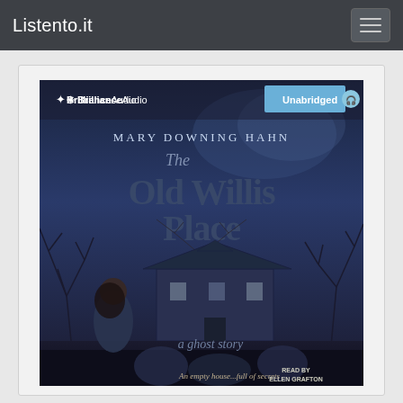Listento.it
[Figure (photo): Audiobook cover for 'The Old Willis Place: a ghost story' by Mary Downing Hahn, published by Brilliance Audio (Unabridged). The cover features a dark blue atmospheric scene with bare trees, a haunted-looking old house, a young girl standing in the foreground, and shadowy ghost figures below. Text reads: 'An empty house...full of secrets' and 'READ BY ELLEN GRAFTON'.]